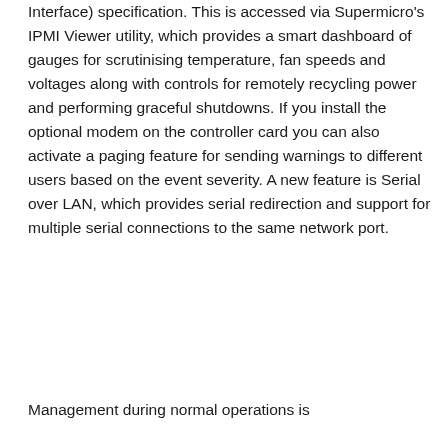Interface) specification. This is accessed via Supermicro's IPMI Viewer utility, which provides a smart dashboard of gauges for scrutinising temperature, fan speeds and voltages along with controls for remotely recycling power and performing graceful shutdowns. If you install the optional modem on the controller card you can also activate a paging feature for sending warnings to different users based on the event severity. A new feature is Serial over LAN, which provides serial redirection and support for multiple serial connections to the same network port.
Management during normal operations is